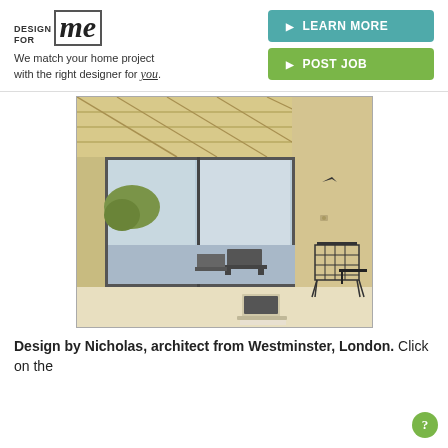[Figure (logo): DesignForMe logo with 'DESIGN FOR me' text and tagline]
We match your home project with the right designer for you.
[Figure (other): LEARN MORE button (teal)]
[Figure (other): POST JOB button (green)]
[Figure (photo): Interior room photo showing plywood walls and ceiling, large sliding glass window/door to terrace, a wire chair, lounge chair outside, and laptop on floor]
Design by Nicholas, architect from Westminster, London. Click on the